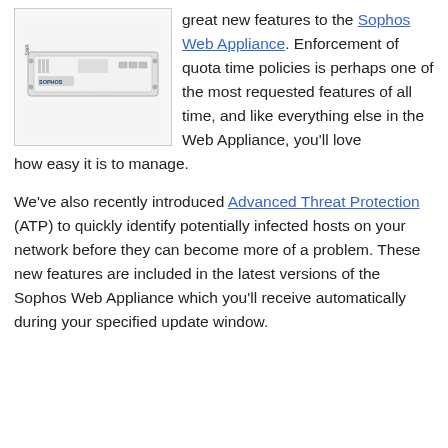[Figure (photo): A Sophos Web Appliance hardware device (1U rack server) shown in a bordered box. White/grey rackmount unit with front panel ports and ventilation slots, Sophos branding.]
great new features to the Sophos Web Appliance. Enforcement of quota time policies is perhaps one of the most requested features of all time, and like everything else in the Web Appliance, you'll love how easy it is to manage.
We've also recently introduced Advanced Threat Protection (ATP) to quickly identify potentially infected hosts on your network before they can become more of a problem. These new features are included in the latest versions of the Sophos Web Appliance which you'll receive automatically during your specified update window.